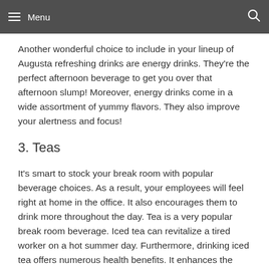Menu | [search icon]
Another wonderful choice to include in your lineup of Augusta refreshing drinks are energy drinks. They're the perfect afternoon beverage to get you over that afternoon slump! Moreover, energy drinks come in a wide assortment of yummy flavors. They also improve your alertness and focus!
3. Teas
It's smart to stock your break room with popular beverage choices. As a result, your employees will feel right at home in the office. It also encourages them to drink more throughout the day. Tea is a very popular break room beverage. Iced tea can revitalize a tired worker on a hot summer day. Furthermore, drinking iced tea offers numerous health benefits. It enhances the immune system, decreases stress, and improves heart health. So, include tea in your Atlanta office coffee service today. Your employees will thank you.